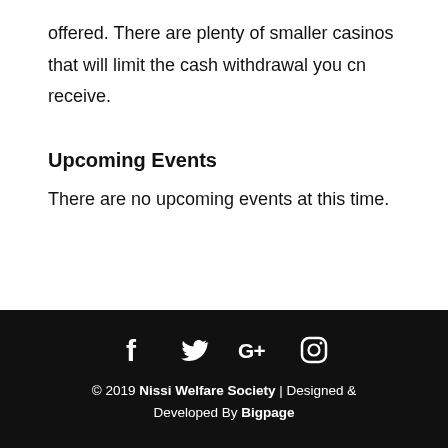offered. There are plenty of smaller casinos that will limit the cash withdrawal you cn receive.
Upcoming Events
There are no upcoming events at this time.
© 2019 Nissi Welfare Society | Designed & Developed By Bigpage